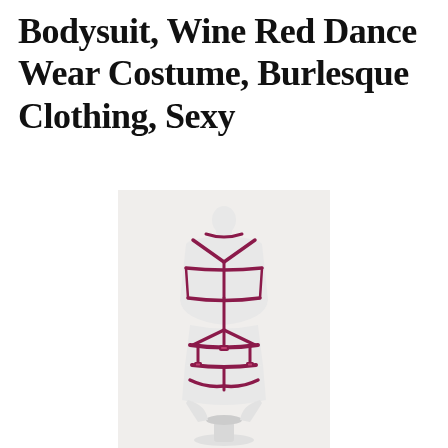Bodysuit, Wine Red Dance Wear Costume, Burlesque Clothing, Sexy
[Figure (photo): A white mannequin torso on a white stand, wearing a wine red/dark pink strap harness bodysuit costume. The harness consists of elastic straps forming geometric patterns across the chest, torso, and hip area. Background is plain white/light grey.]